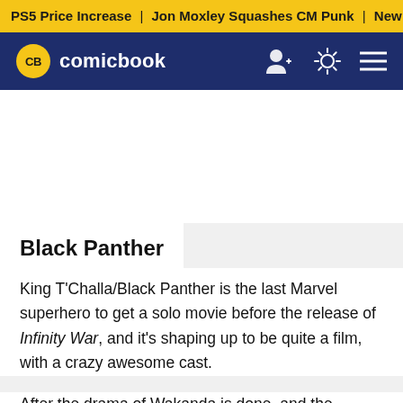PS5 Price Increase | Jon Moxley Squashes CM Punk | New G
CB comicbook
Black Panther
King T'Challa/Black Panther is the last Marvel superhero to get a solo movie before the release of Infinity War, and it's shaping up to be quite a film, with a crazy awesome cast.
After the drama of Wakanda is done, and the Panther is